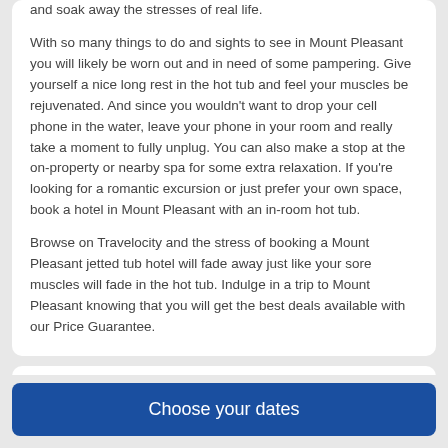and soak away the stresses of real life.
With so many things to do and sights to see in Mount Pleasant you will likely be worn out and in need of some pampering. Give yourself a nice long rest in the hot tub and feel your muscles be rejuvenated. And since you wouldn't want to drop your cell phone in the water, leave your phone in your room and really take a moment to fully unplug. You can also make a stop at the on-property or nearby spa for some extra relaxation. If you're looking for a romantic excursion or just prefer your own space, book a hotel in Mount Pleasant with an in-room hot tub.
Browse on Travelocity and the stress of booking a Mount Pleasant jetted tub hotel will fade away just like your sore muscles will fade in the hot tub. Indulge in a trip to Mount Pleasant knowing that you will get the best deals available with our Price Guarantee.
Choose your dates